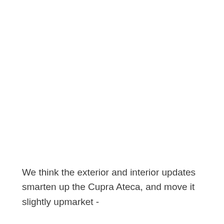We think the exterior and interior updates smarten up the Cupra Ateca, and move it slightly upmarket -